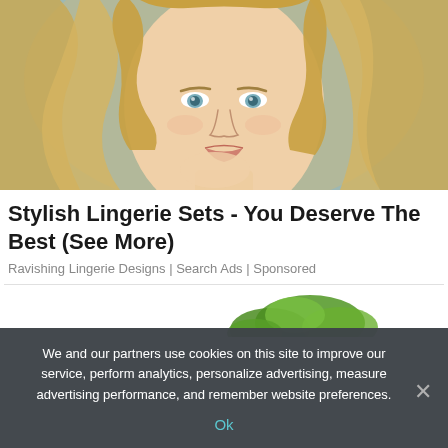[Figure (photo): Portrait of a young blonde woman with wavy hair, resting her chin on her hand, against a light grey-green background. Advertisement image.]
Stylish Lingerie Sets - You Deserve The Best (See More)
Ravishing Lingerie Designs | Search Ads | Sponsored
[Figure (photo): Partial image showing green leaves, bottom of advertisement card.]
We and our partners use cookies on this site to improve our service, perform analytics, personalize advertising, measure advertising performance, and remember website preferences.